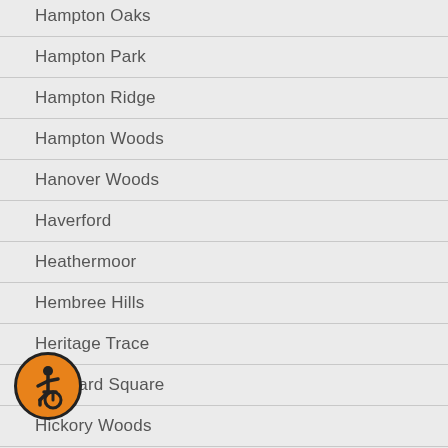Hampton Oaks
Hampton Park
Hampton Ridge
Hampton Woods
Hanover Woods
Haverford
Heathermoor
Hembree Hills
Heritage Trace
Heyward Square
Hickory Woods
Hidden Hollow
[Figure (illustration): Accessibility icon - orange circle with wheelchair user symbol in black]